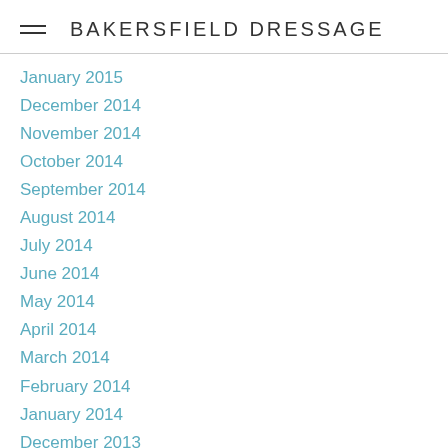BAKERSFIELD DRESSAGE
January 2015
December 2014
November 2014
October 2014
September 2014
August 2014
July 2014
June 2014
May 2014
April 2014
March 2014
February 2014
January 2014
December 2013
November 2013
October 2013
September 2013